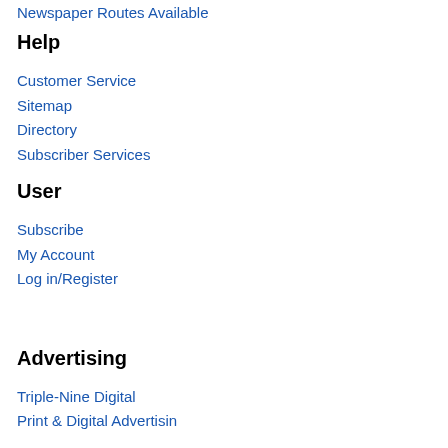Newspaper Routes Available
Help
Customer Service
Sitemap
Directory
Subscriber Services
User
Subscribe
My Account
Log in/Register
Advertising
Triple-Nine Digital
Print & Digital Advertisin…